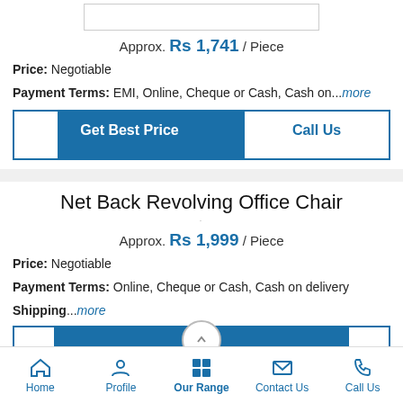Approx. Rs 1,741 / Piece
Price: Negotiable
Payment Terms: EMI, Online, Cheque or Cash, Cash on...more
Get Best Price
Call Us
Net Back Revolving Office Chair
Approx. Rs 1,999 / Piece
Price: Negotiable
Payment Terms: Online, Cheque or Cash, Cash on delivery
Shipping...more
Home  Profile  Our Range  Contact Us  Call Us